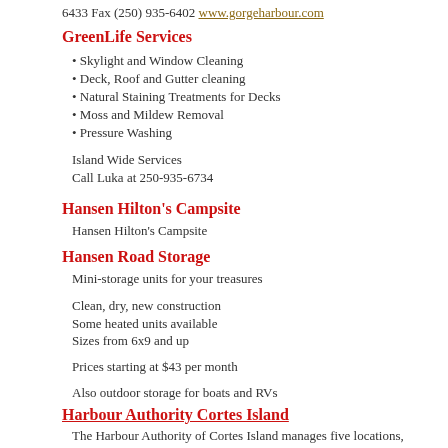6433 Fax (250) 935-6402 www.gorgeharbour.com
GreenLife Services
Skylight and Window Cleaning
Deck, Roof and Gutter cleaning
Natural Staining Treatments for Decks
Moss and Mildew Removal
Pressure Washing
Island Wide Services
Call Luka at 250-935-6734
Hansen Hilton's Campsite
Hansen Hilton's Campsite
Hansen Road Storage
Mini-storage units for your treasures
Clean, dry, new construction
Some heated units available
Sizes from 6x9 and up
Prices starting at $43 per month
Also outdoor storage for boats and RVs
Harbour Authority Cortes Island
The Harbour Authority of Cortes Island manages five locations, Cortes Bay, Squirrel Cove Dock, Gorge Harbour Government Dock, Manson's Landing Dock and Whaletown Dock.